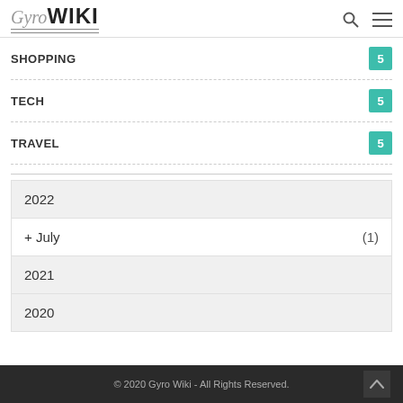Gyro WIKI
SHOPPING 5
TECH 5
TRAVEL 5
2022
+ July (1)
2021
2020
© 2020 Gyro Wiki - All Rights Reserved.